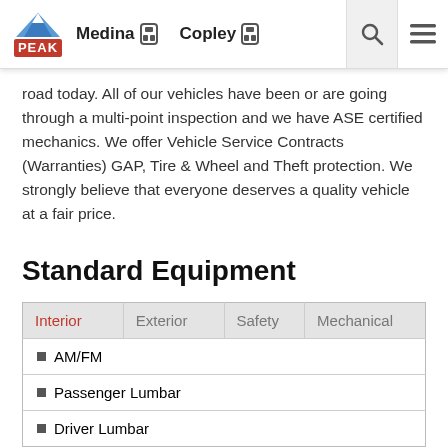Peak  Medina  Copley
road today. All of our vehicles have been or are going through a multi-point inspection and we have ASE certified mechanics. We offer Vehicle Service Contracts (Warranties) GAP, Tire & Wheel and Theft protection. We strongly believe that everyone deserves a quality vehicle at a fair price.
Standard Equipment
| Interior | Exterior | Safety | Mechanical |
| --- | --- | --- | --- |
| AM/FM |  |  |  |
| Passenger Lumbar |  |  |  |
| Driver Lumbar |  |  |  |